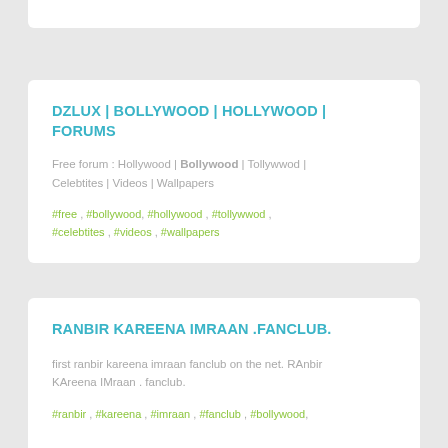DZLUX | BOLLYWOOD | HOLLYWOOD | FORUMS
Free forum : Hollywood | Bollywood | Tollywwod | Celebtites | Videos | Wallpapers
#free , #bollywood, #hollywood , #tollywwod , #celebtites , #videos , #wallpapers
RANBIR KAREENA IMRAAN .FANCLUB.
first ranbir kareena imraan fanclub on the net. RAnbir KAreena IMraan . fanclub.
#ranbir , #kareena , #imraan , #fanclub , #bollywood, #kapoor , #khan , #imran , #bebo